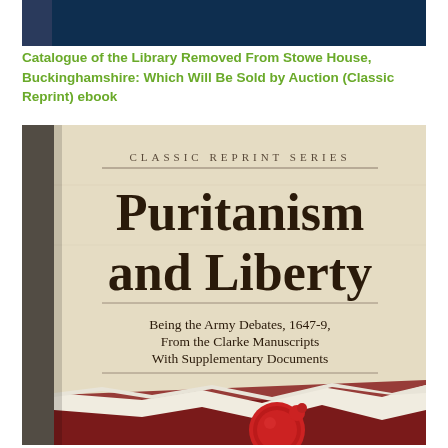Catalogue of the Library Removed From Stowe House, Buckinghamshire: Which Will Be Sold by Auction (Classic Reprint) ebook
[Figure (photo): Book cover of 'Puritanism and Liberty' from the Classic Reprint Series. The cover shows a beige/parchment background with dark brown text. At the top: 'CLASSIC REPRINT SERIES' in spaced caps with a decorative line. Large main title reads 'Puritanism and Liberty'. Subtitle reads 'Being the Army Debates, 1647-9, From the Clarke Manuscripts With Supplementary Documents'. Bottom portion shows a torn paper effect revealing a dark red/maroon background with a red wax seal. Left spine is dark brown/grey.]